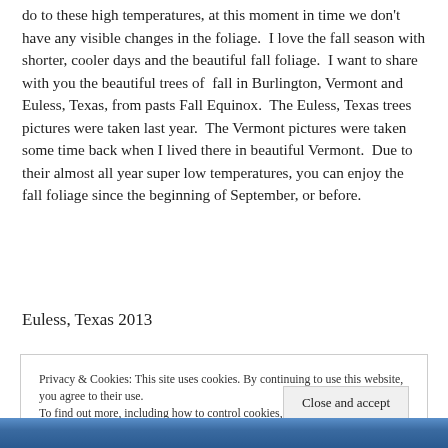do to these high temperatures, at this moment in time we don't have any visible changes in the foliage.  I love the fall season with shorter, cooler days and the beautiful fall foliage.  I want to share with you the beautiful trees of  fall in Burlington, Vermont and Euless, Texas, from pasts Fall Equinox.  The Euless, Texas trees pictures were taken last year.  The Vermont pictures were taken some time back when I lived there in beautiful Vermont.  Due to their almost all year super low temperatures, you can enjoy the fall foliage since the beginning of September, or before.
Euless, Texas 2013
Privacy & Cookies: This site uses cookies. By continuing to use this website, you agree to their use.
To find out more, including how to control cookies, see here: Cookie Policy
[Figure (photo): Bottom strip showing a partial view of a photo with blue/nature tones]